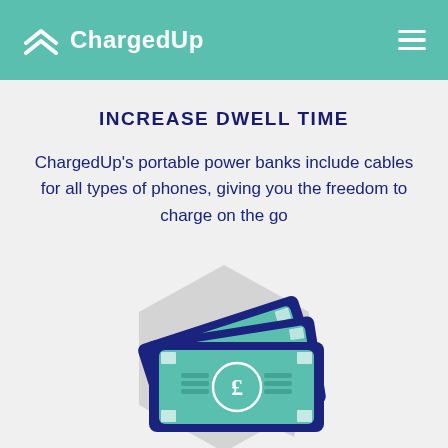ChargedUp
INCREASE DWELL TIME
ChargedUp's portable power banks include cables for all types of phones, giving you the freedom to charge on the go
[Figure (illustration): Illustration of pound sterling banknotes stacked on a grey hexagon background icon]